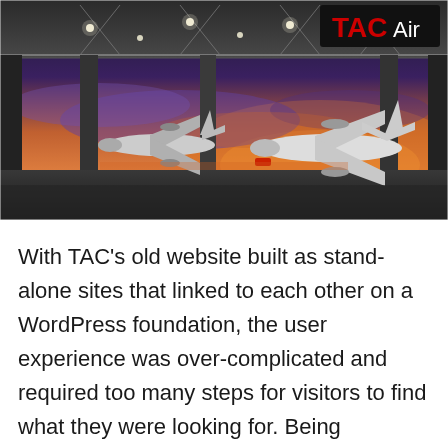[Figure (photo): A nighttime/dusk photograph of a TAC Air FBO facility. Several private jets are parked on the tarmac under a large open canopy/hangar structure. The TAC Air logo in red and white lettering is illuminated on the upper right of the canopy. The sky shows a colorful sunset with orange, purple, and blue hues.]
With TAC's old website built as stand-alone sites that linked to each other on a WordPress foundation, the user experience was over-complicated and required too many steps for visitors to find what they were looking for. Being WordPress-based, it did not allow for clear information architecture to promote the different business lines within the portfolio...